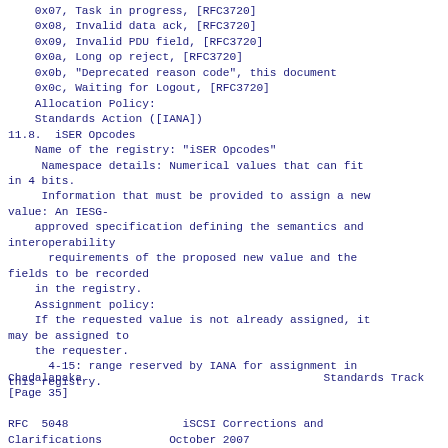0x07, Task in progress, [RFC3720]
    0x08, Invalid data ack, [RFC3720]
    0x09, Invalid PDU field, [RFC3720]
    0x0a, Long op reject, [RFC3720]
    0x0b, "Deprecated reason code", this document
    0x0c, Waiting for Logout, [RFC3720]
    Allocation Policy:
    Standards Action ([IANA])
11.8.  iSER Opcodes
Name of the registry: "iSER Opcodes"
     Namespace details: Numerical values that can fit
in 4 bits.
     Information that must be provided to assign a new
value: An IESG-
    approved specification defining the semantics and
interoperability
      requirements of the proposed new value and the
fields to be recorded
    in the registry.
    Assignment policy:
    If the requested value is not already assigned, it
may be assigned to
    the requester.
      4-15: range reserved by IANA for assignment in
this registry.
Chadalapaka                                    Standards Track
[Page 35]

RFC  5048                 iSCSI Corrections and
Clarifications          October 2007